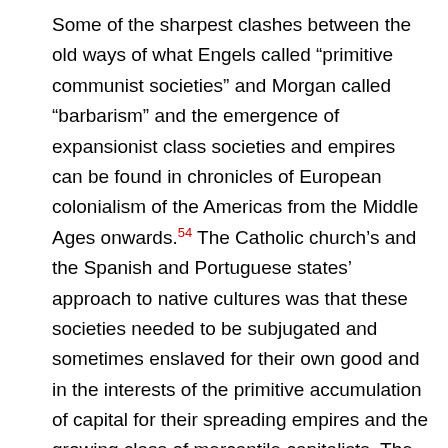Some of the sharpest clashes between the old ways of what Engels called “primitive communist societies” and Morgan called “barbarism” and the emergence of expansionist class societies and empires can be found in chronicles of European colonialism of the Americas from the Middle Ages onwards.54 The Catholic church’s and the Spanish and Portuguese states’ approach to native cultures was that these societies needed to be subjugated and sometimes enslaved for their own good and in the interests of the primitive accumulation of capital for their spreading empires and the growing class of mercantile capitalists. The ideological justification for this brutality and genocide often came from an enthusiastic Christianity.
A few examples will suffice. In 1530 the Spanish